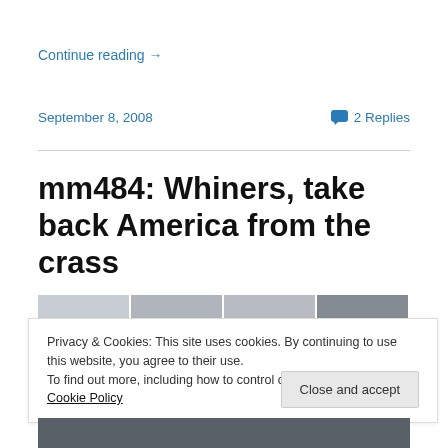Continue reading →
September 8, 2008
2 Replies
mm484: Whiners, take back America from the crass
[Figure (photo): Partial photo strip of a gray tiled or paneled surface]
Privacy & Cookies: This site uses cookies. By continuing to use this website, you agree to their use.
To find out more, including how to control cookies, see here: Cookie Policy
Close and accept
[Figure (photo): Bottom partial photo, dark tones]